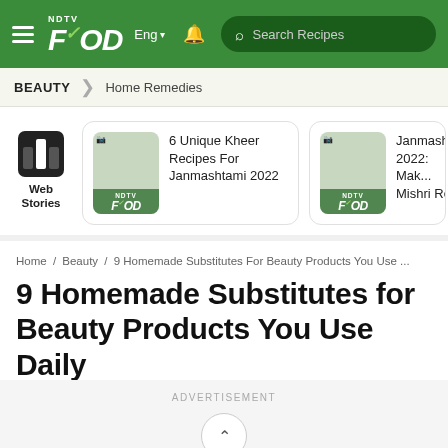NDTV Food | Eng | Search Recipes
BEAUTY > Home Remedies
[Figure (other): Web Stories section with two story cards: '6 Unique Kheer Recipes For Janmashtami 2022' and 'Janmashtami 2022: Mak... Mishri Re...' with NDTV Food thumbnail images]
Home / Beauty / 9 Homemade Substitutes For Beauty Products You Use ...
9 Homemade Substitutes for Beauty Products You Use Daily
ADVERTISEMENT